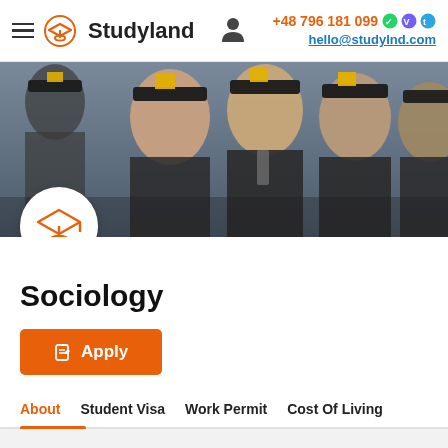Studyland — +48 796 181 099 — hello@studylnd.com
[Figure (photo): Group of smiling graduates in black caps and gowns with yellow tassels]
Sociology
Apply
About | Student Visa | Work Permit | Cost Of Living